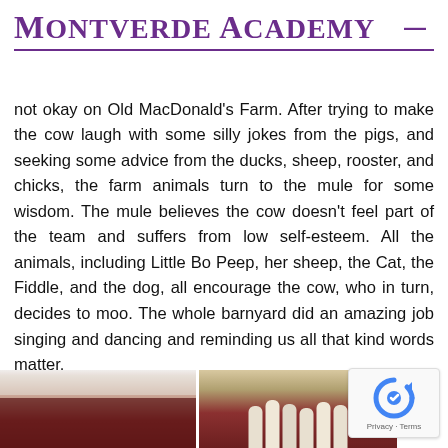Montverde Academy
not okay on Old MacDonald's Farm. After trying to make the cow laugh with some silly jokes from the pigs, and seeking some advice from the ducks, sheep, rooster, and chicks, the farm animals turn to the mule for some wisdom. The mule believes the cow doesn't feel part of the team and suffers from low self-esteem. All the animals, including Little Bo Peep, her sheep, the Cat, the Fiddle, and the dog, all encourage the cow, who in turn, decides to moo. The whole barnyard did an amazing job singing and dancing and reminding us all that kind words matter.
Congratulations to our performers and faculty who brought these fun-filled performances to the stage!
[Figure (photo): Two photos side by side at bottom of page: left shows a stage with red curtains, right shows children in animal costumes on stage.]
[Figure (other): reCAPTCHA privacy widget in bottom right corner]